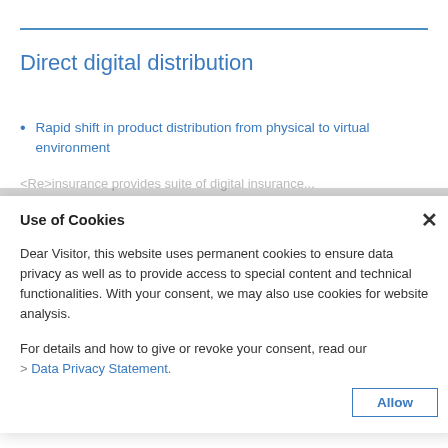Direct digital distribution
Rapid shift in product distribution from physical to virtual environment
Use of Cookies
Dear Visitor, this website uses permanent cookies to ensure data privacy as well as to provide access to special content and technical functionalities. With your consent, we may also use cookies for website analysis.
For details and how to give or revoke your consent, read our
> Data Privacy Statement.
Allow